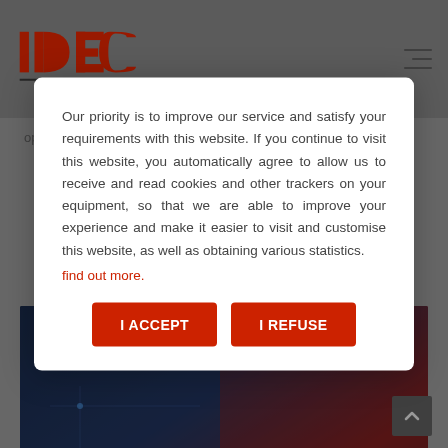[Figure (logo): IDEC GROUPE company logo in red and black]
optimise your future installations:
[Figure (photo): Background website images showing technology and construction scenes]
Our priority is to improve our service and satisfy your requirements with this website. If you continue to visit this website, you automatically agree to allow us to receive and read cookies and other trackers on your equipment, so that we are able to improve your experience and make it easier to visit and customise this website, as well as obtaining various statistics. find out more.